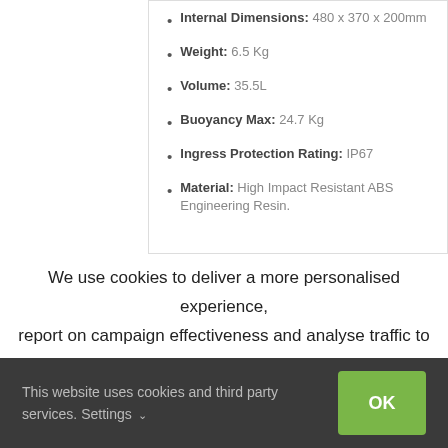Internal Dimensions: 480 x 370 x 200mm
Weight: 6.5 Kg
Volume: 35.5L
Buoyancy Max: 24.7 Kg
Ingress Protection Rating: IP67
Material: High Impact Resistant ABS Engineering Resin.
We use cookies to deliver a more personalised experience, report on campaign effectiveness and analyse traffic to this site. To learn more please read our cookies and privacy policies. By
This website uses cookies and third party services. Settings
OK